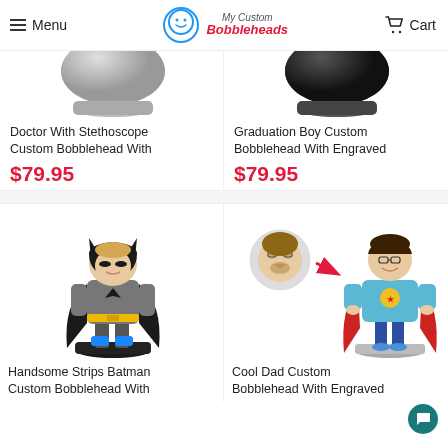Menu | My Custom Bobbleheads | Cart
[Figure (photo): Doctor With Stethoscope Custom Bobblehead product image - partial top view showing base]
[Figure (photo): Graduation Boy Custom Bobblehead product image - partial top view showing base]
Doctor With Stethoscope Custom Bobblehead With
$79.95
Graduation Boy Custom Bobblehead With Engraved
$79.95
[Figure (photo): Handsome Strips Batman Custom Bobblehead - full figure batman costume bobblehead on black base]
[Figure (photo): Cool Dad Custom Bobblehead With Engraved - superhero cape figure with custom face, showing photo-to-bobblehead transformation]
Handsome Strips Batman Custom Bobblehead With
Cool Dad Custom Bobblehead With Engraved